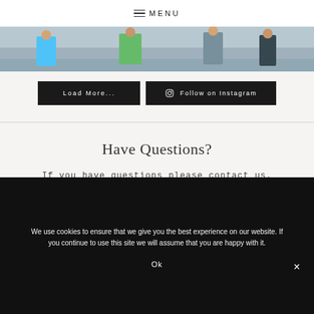MENU
[Figure (photo): Photo strip showing people on a beach, partially cropped]
Load More...
Follow on Instagram
Have Questions?
If you have questions please contact us.
We use cookies to ensure that we give you the best experience on our website. If you continue to use this site we will assume that you are happy with it.
Ok